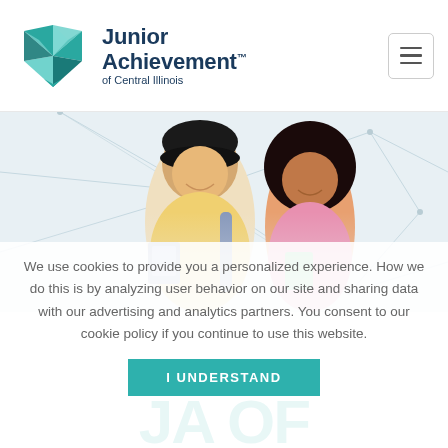[Figure (logo): Junior Achievement of Central Illinois logo with teal geometric diamond/arrow shapes and dark navy text]
[Figure (photo): Two smiling students, a young Asian male with a backpack and a young Black female, against a light geometric network background]
We use cookies to provide you a personalized experience. How we do this is by analyzing user behavior on our site and sharing data with our advertising and analytics partners. You consent to our cookie policy if you continue to use this website.
I UNDERSTAND